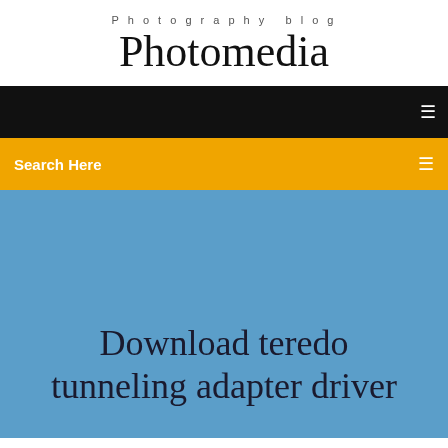Photography blog
Photomedia
Search Here
Download teredo tunneling adapter driver